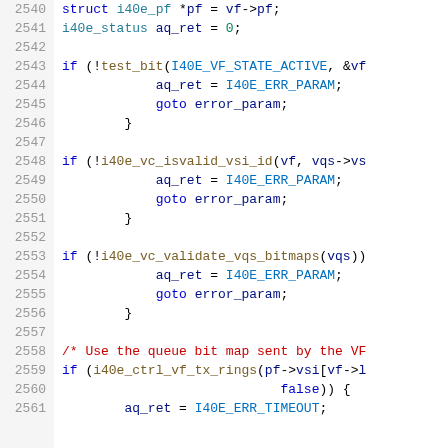[Figure (screenshot): Source code listing showing C code lines 2540-2561 with syntax highlighting. Line numbers in gray on left, code on right with keywords in blue, functions in gold, types in teal, constants in blue, comments in red, and goto keyword in blue.]